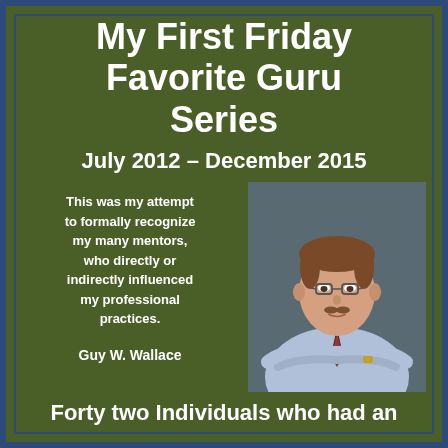My First Friday Favorite Guru Series
July 2012 – December 2015
This was my attempt to formally recognize my many mentors, who directly or indirectly influenced my professional practices.

Guy W. Wallace
[Figure (photo): Professional headshot of Guy W. Wallace, a middle-aged man with brown hair and glasses wearing a light blue shirt and striped tie, arms crossed.]
Forty two Individuals who had an